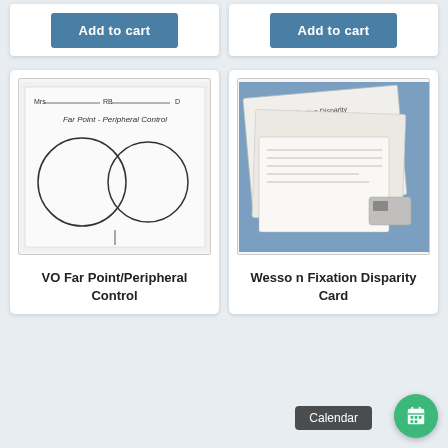Add to cart
Add to cart
[Figure (photo): Medical chart showing Far Point Peripheral Control with two large circles drawn on paper]
VO Far Point/Peripheral Control
[Figure (photo): Photo of Wesson Fixation Disparity Card set with printed cards, grey lens attachments on blue background]
Wesson Fixation Disparity Card
Calendar